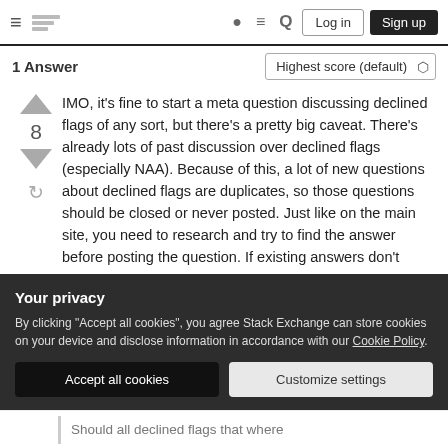Stack Exchange navigation bar with hamburger menu, logo, help, chat, search icons, Log in and Sign up buttons
1 Answer
Highest score (default)
IMO, it's fine to start a meta question discussing declined flags of any sort, but there's a pretty big caveat. There's already lots of past discussion over declined flags (especially NAA). Because of this, a lot of new questions about declined flags are duplicates, so those questions should be closed or never posted. Just like on the main site, you need to research and try to find the answer before posting the question. If existing answers don't answer your
Your privacy
By clicking "Accept all cookies", you agree Stack Exchange can store cookies on your device and disclose information in accordance with our Cookie Policy.
Accept all cookies
Customize settings
Should all declined flags that where